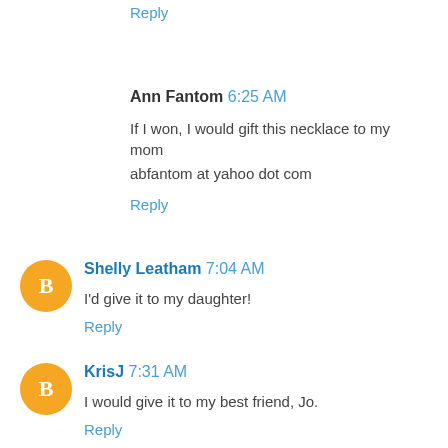Reply
Ann Fantom 6:25 AM
If I won, I would gift this necklace to my mom
abfantom at yahoo dot com
Reply
Shelly Leatham 7:04 AM
I'd give it to my daughter!
Reply
KrisJ 7:31 AM
I would give it to my best friend, Jo.
Reply